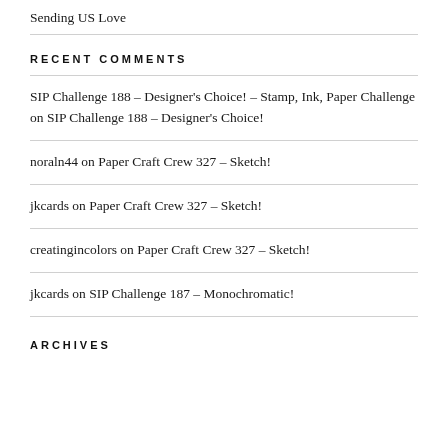Sending US Love
RECENT COMMENTS
SIP Challenge 188 – Designer's Choice! – Stamp, Ink, Paper Challenge on SIP Challenge 188 – Designer's Choice!
noraln44 on Paper Craft Crew 327 – Sketch!
jkcards on Paper Craft Crew 327 – Sketch!
creatingincolors on Paper Craft Crew 327 – Sketch!
jkcards on SIP Challenge 187 – Monochromatic!
ARCHIVES